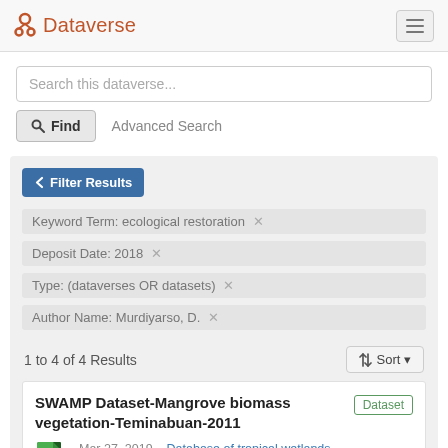Dataverse
Search this dataverse...
Find   Advanced Search
Filter Results
Keyword Term: ecological restoration ×
Deposit Date: 2018 ×
Type: (dataverses OR datasets) ×
Author Name: Murdiyarso, D. ×
1 to 4 of 4 Results
Sort
SWAMP Dataset-Mangrove biomass vegetation-Teminabuan-2011
Mar 27, 2019 – Database of tropical wetlands